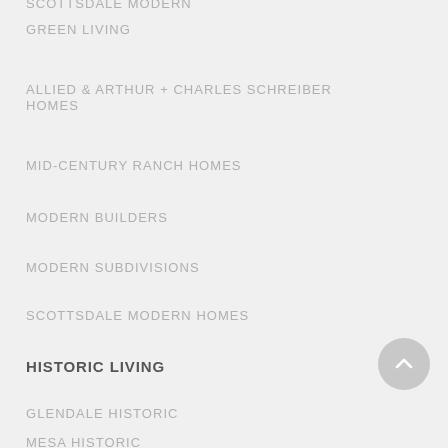GREEN LIVING
ALLIED & ARTHUR + CHARLES SCHREIBER HOMES
MID-CENTURY RANCH HOMES
MODERN BUILDERS
MODERN SUBDIVISIONS
SCOTTSDALE MODERN HOMES
HISTORIC LIVING
GLENDALE HISTORIC
MESA HISTORIC